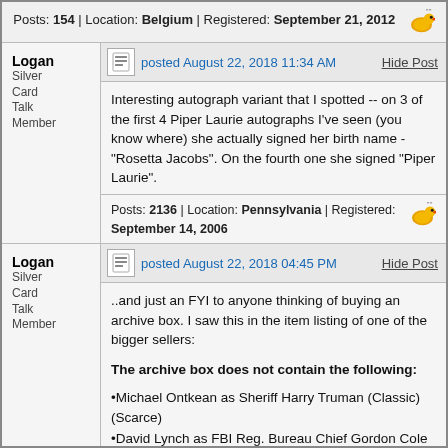Posts: 154 | Location: Belgium | Registered: September 21, 2012
Logan
Silver Card Talk Member
posted August 22, 2018 11:34 AM
Interesting autograph variant that I spotted -- on 3 of the first 4 Piper Laurie autographs I've seen (you know where) she actually signed her birth name - "Rosetta Jacobs". On the fourth one she signed "Piper Laurie".
Posts: 2136 | Location: Pennsylvania | Registered: September 14, 2006
Logan
Silver Card Talk Member
posted August 22, 2018 04:45 PM
..and just an FYI to anyone thinking of buying an archive box. I saw this in the item listing of one of the bigger sellers:
The archive box does not contain the following:
•Michael Ontkean as Sheriff Harry Truman (Classic) (Scarce)
•David Lynch as FBI Reg. Bureau Chief Gordon Cole (Limited Event Series) (Scarce)
•David Duchovny as Denise Bryson (Classic) (Scarce)
•Peggy Lipton as Norma Jennings (Limited Event Series) (Scarce)
•Sheryl Lee as Laura Palmer (Limited Event Series) (Scarce)